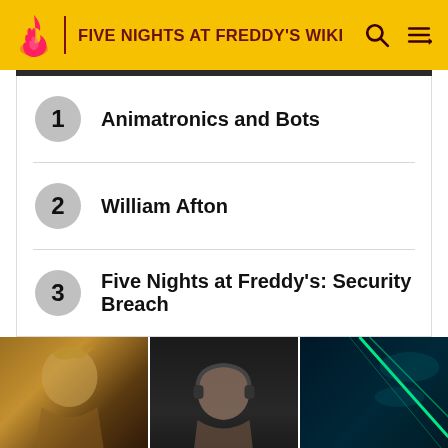FIVE NIGHTS AT FREDDY'S WIKI
1 Animatronics and Bots
2 William Afton
3 Five Nights at Freddy's: Security Breach
[Figure (photo): Three side-by-side image panels: a fantasy warrior character illustration, a person wearing headphones in dark lighting, and a neon teal/green glowing lights scene]